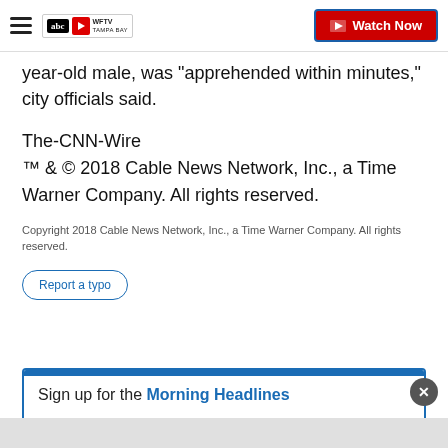WFTV Tampa Bay — Watch Now
year-old male, was "apprehended within minutes," city officials said.
The-CNN-Wire
™ & © 2018 Cable News Network, Inc., a Time Warner Company. All rights reserved.
Copyright 2018 Cable News Network, Inc., a Time Warner Company. All rights reserved.
Report a typo
Sign up for the Morning Headlines